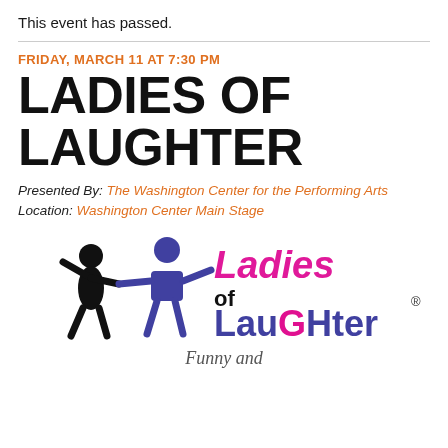This event has passed.
FRIDAY, MARCH 11 AT 7:30 PM
LADIES OF LAUGHTER
Presented By: The Washington Center for the Performing Arts
Location: Washington Center Main Stage
[Figure (logo): Ladies of Laughter logo with stylized figures and colorful text, including 'Funny and' text visible at bottom]